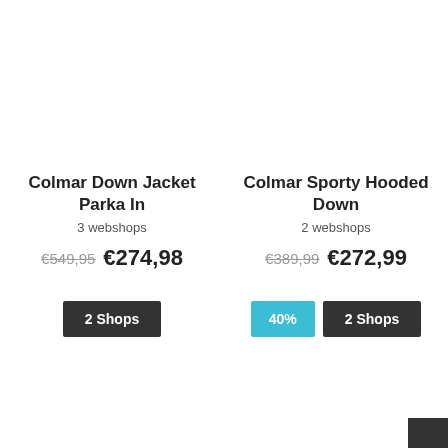Colmar Down Jacket Parka In
3 webshops
€549,95  €274,98
2 Shops
Colmar Sporty Hooded Down
2 webshops
€389,99  €272,99
40%
2 Shops